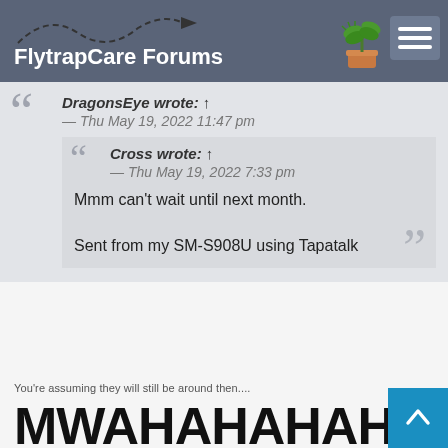FlytrapCare Forums
DragonsEye wrote: ↑
— Thu May 19, 2022 11:47 pm
Cross wrote: ↑
— Thu May 19, 2022 7:33 pm
Mmm can't wait until next month.

Sent from my SM-S908U using Tapatalk
You're assuming they will still be around then....
MWAHAHAHAHAH